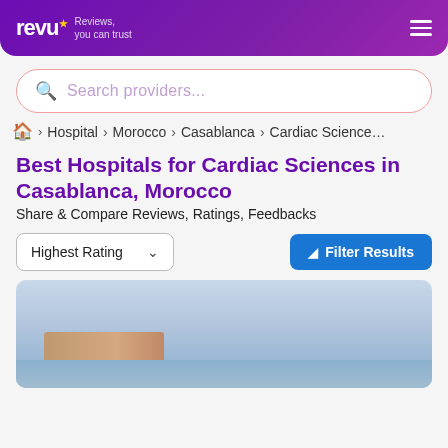revU Reviews, you can trust
Search providers...
🏠 › Hospital › Morocco › Casablanca › Cardiac Sciences
Best Hospitals for Cardiac Sciences in Casablanca, Morocco
Share & Compare Reviews, Ratings, Feedbacks
Highest Rating
Filter Results
[Figure (photo): Hospital building photo with blue sky background]